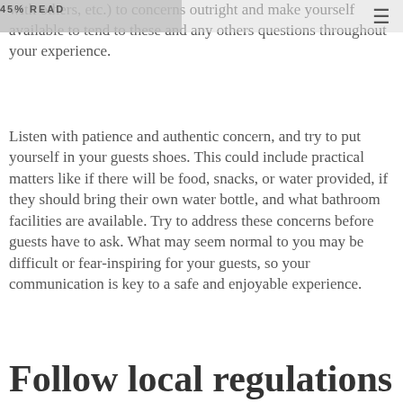45% READ
with others, etc.) to concerns outright and make yourself available to tend to these and any others questions throughout your experience.
Listen with patience and authentic concern, and try to put yourself in your guests shoes. This could include practical matters like if there will be food, snacks, or water provided, if they should bring their own water bottle, and what bathroom facilities are available. Try to address these concerns before guests have to ask. What may seem normal to you may be difficult or fear-inspiring for your guests, so your communication is key to a safe and enjoyable experience.
Follow local regulations